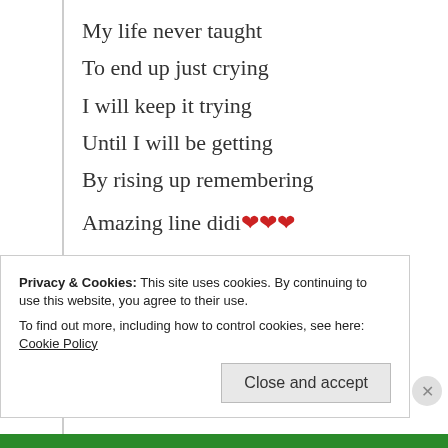My life never taught
To end up just crying
I will keep it trying
Until I will be getting
By rising up remembering
Amazing line didi ❤❤❤
★ Liked by 3 people
Log in to Reply
Privacy & Cookies: This site uses cookies. By continuing to use this website, you agree to their use. To find out more, including how to control cookies, see here: Cookie Policy
Close and accept